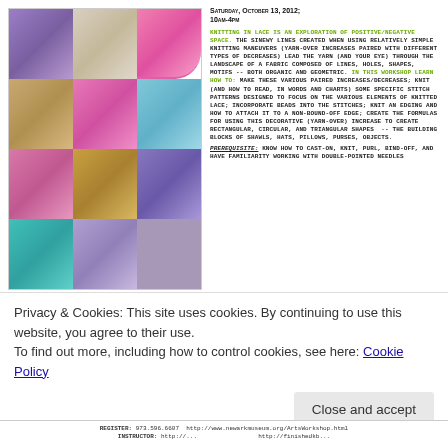Saturday, October 13, 2012; 10am-4pm
[Figure (photo): Grid of 12 knitting/lace textile photos showing various stitch patterns including purple scales, beaded knitting, pink lace edging, tan knitting, pink circular lace, blue snowflake lace, pink beaded fabric, gold butterfly lace, purple stitch work, teal shawl, lavender leaf lace, and another lace sample]
Knitting in lace is an exploration of positive/negative space. The sinewy lines created when using relatively simple knitting maneuvers (yarn-over increases paired with different types of decreases) lead the yarn (and your eye) through the landscape of a fabric composed of lines, holes, shapes, motifs -- both organic and geometric. In this workshop learn how to: make these various paired increases/decreases; knit (and how to read, in words and charts) some specific stitch patterns designed to focus on the various elements of knitted lace; incorporate beads into the stitches; knit an edging and how to attach it to a non-bound-off edge; create the formulas for using this decorative (yarn-over) increase to create rectangular, circular, and triangular shapes -- the building blocks of shawls, hats, pillows, purses, objects.
Prerequisite: Know how to cast-on, knit, purl, bind-off, and have familiarity working with double-pointed needles
Privacy & Cookies: This site uses cookies. By continuing to use this website, you agree to their use.
To find out more, including how to control cookies, see here: Cookie Policy
Close and accept
REGISTER: 973.596.6607 http://www.newarkmuseum.org/ArtsWorkshop.html
INSTRUCTOR: http://...